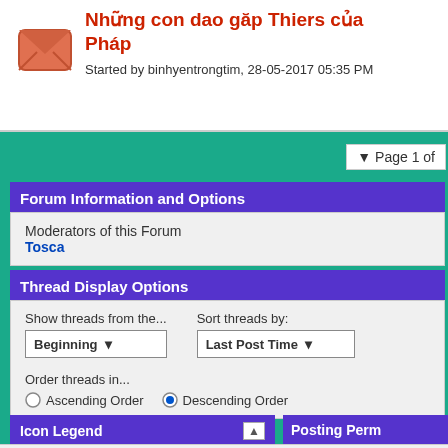Những con dao găp Thiers của Pháp
Started by binhyentrongtim, 28-05-2017 05:35 PM
▼ Page 1 of
Forum Information and Options
Moderators of this Forum
Tosca
Thread Display Options
Show threads from the...  Beginning ▾
Sort threads by:  Last Post Time ▾
Order threads in...
○ Ascending Order  ● Descending Order
Icon Legend
Posting Perm
Contains unread posts
Contains no unread posts
Hot thread with unread posts
Hot thread with no unread posts
You may no threads
You may no
You may no attachments